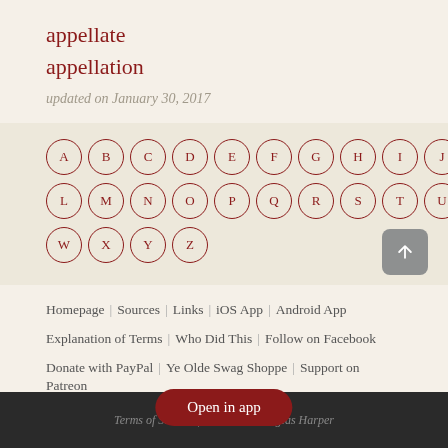appellate
appellation
updated on January 30, 2017
[Figure (other): Alphabet navigation circles A through Z arranged in three rows]
Homepage | Sources | Links | iOS App | Android App | Explanation of Terms | Who Did This | Follow on Facebook | Donate with PayPal | Ye Olde Swag Shoppe | Support on Patreon
Terms of Service | P... -2022 Douglas Harper